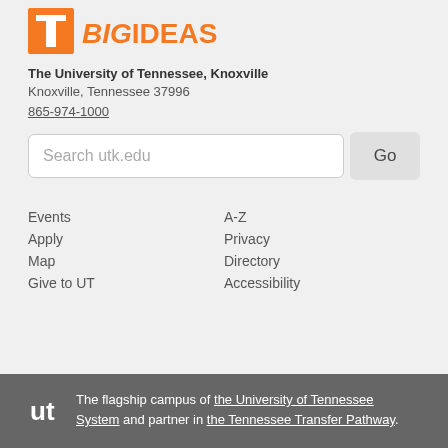[Figure (logo): UT Big Ideas logo with orange T and BIGIDEAS text]
The University of Tennessee, Knoxville
Knoxville, Tennessee 37996
865-974-1000
Search utk.edu
Events
Apply
Map
Give to UT
A-Z
Privacy
Directory
Accessibility
The flagship campus of the University of Tennessee System and partner in the Tennessee Transfer Pathway.